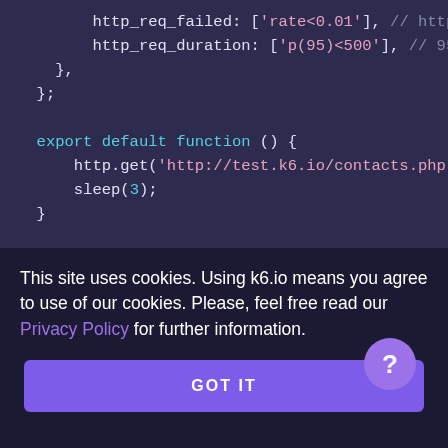[Figure (screenshot): Code editor screenshot showing JavaScript/k6 code with syntax highlighting on dark purple background. Code shows http_req_failed thresholds, http_req_duration thresholds, closing braces, export default function with http.get and sleep calls, and export function handleSummary with console.log line partially visible.]
This site uses cookies. Using k6.io means you agree to use of our cookies. Please, feel free read our Privacy Policy for further information.
GOT IT